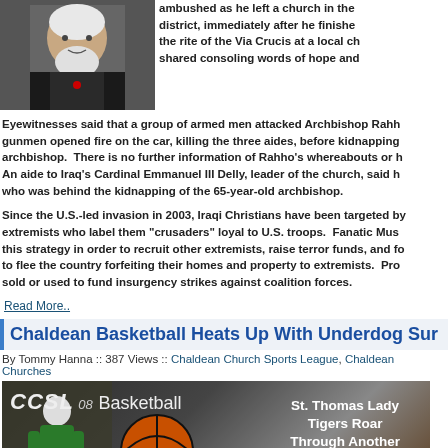[Figure (photo): Portrait photo of Archbishop Rahho, an elderly man with white hair and beard wearing dark clerical robes with a red cross pendant]
ambushed as he left a church in the district, immediately after he finished the rite of the Via Crucis at a local ch shared consoling words of hope and
Eyewitnesses said that a group of armed men attacked Archbishop Rahh gunmen opened fire on the car, killing the three aides, before kidnapping archbishop. There is no further information of Rahho's whereabouts or h An aide to Iraq's Cardinal Emmanuel III Delly, leader of the church, said h who was behind the kidnapping of the 65-year-old archbishop.
Since the U.S.-led invasion in 2003, Iraqi Christians have been targeted b extremists who label them "crusaders" loyal to U.S. troops. Fanatic Mus this strategy in order to recruit other extremists, raise terror funds, and f to flee the country forfeiting their homes and property to extremists. Pro sold or used to fund insurgency strikes against coalition forces.
Read More..
Chaldean Basketball Heats Up With Underdog Sur
By Tommy Hanna :: 387 Views :: Chaldean Church Sports League, Chaldean Churches
[Figure (photo): CCSL 08 Basketball banner image showing a basketball player in green uniform on the left, a basketball in the center, and text 'St. Thomas Lady Tigers Roar Through Another Victory' on the right side]